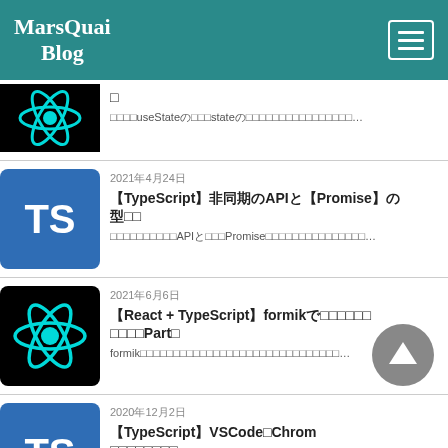MarsQuai Blog
[Figure (screenshot): Blog listing page showing articles about React and TypeScript with thumbnail icons and article titles in Japanese]
2021年4月24日 — 【TypeScript】非同期APIとPromiseの型 — 非同期処理とAPIとPromiseの型定義について解説します...
2021年6月6日 — 【React + TypeScript】formikでフォームを簡単に作ろうPart1 — formikを利用して簡単にフォームを作成する方法を解説します...
2020年12月2日 — 【TypeScript】VSCode、Chromeのデバッグ設定 — TypeScriptとJavaScriptの開発環境設定 解説します...
2021年2月11日 — 【React in TypeScript】ErrorBoundariesの実装方法